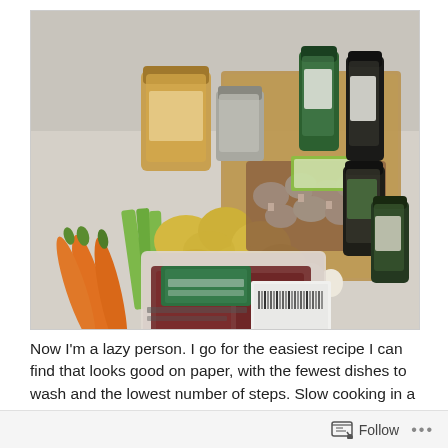[Figure (photo): Photograph of cooking ingredients laid out on a counter: carrots, celery, yellow potatoes, mushrooms in a cardboard tray, a packaged cut of beef, jars of broth and spices, garlic cloves, and multiple spice bottles on a wooden cutting board.]
Now I'm a lazy person. I go for the easiest recipe I can find that looks good on paper, with the fewest dishes to wash and the lowest number of steps. Slow cooking in a 'crock pot' is the lazy guy's (gal's) way to cook. It's economical too, you
Follow ···